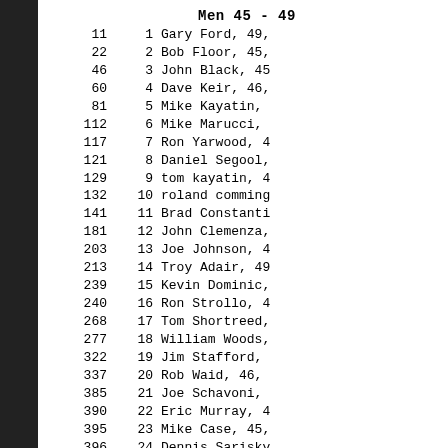Men 45 - 49
| Bib | Place | Name |
| --- | --- | --- |
| 11 | 1 | Gary Ford, 49, |
| 22 | 2 | Bob Floor, 45, |
| 46 | 3 | John Black, 45 |
| 60 | 4 | Dave Keir, 46, |
| 81 | 5 | Mike Kayatin, |
| 112 | 6 | Mike Marucci, |
| 117 | 7 | Ron Yarwood, 4 |
| 121 | 8 | Daniel Segool, |
| 129 | 9 | tom kayatin, 4 |
| 132 | 10 | roland comming |
| 141 | 11 | Brad Constanti |
| 181 | 12 | John Clemenza, |
| 203 | 13 | Joe Johnson, 4 |
| 213 | 14 | Troy Adair, 49 |
| 239 | 15 | Kevin Dominic, |
| 240 | 16 | Ron Strollo, 4 |
| 268 | 17 | Tom Shortreed, |
| 277 | 18 | William Woods, |
| 322 | 19 | Jim Stafford, |
| 337 | 20 | Rob Waid, 46, |
| 385 | 21 | Joe Schavoni, |
| 390 | 22 | Eric Murray, 4 |
| 395 | 23 | Mike Case, 45, |
| 396 | 24 | Dennis Sarisky |
| 399 | 25 | Joseph Iwaskey |
| 409 | 26 | Paul Dunleavy, |
| 422 | 27 | Edward Stark, |
| 483 | 28 | Les Jacques, 4 |